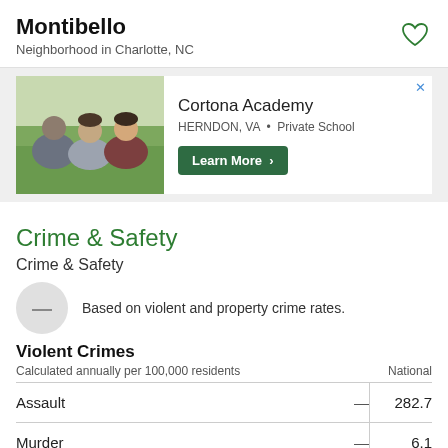Montibello
Neighborhood in Charlotte, NC
[Figure (photo): Advertisement for Cortona Academy showing students on grass. Text: Cortona Academy, HERNDON, VA · Private School, Learn More button.]
Crime & Safety
Crime & Safety
Based on violent and property crime rates.
Violent Crimes
Calculated annually per 100,000 residents
National
|  |  | National |
| --- | --- | --- |
| Assault | — | 282.7 |
| Murder | — | 6.1 |